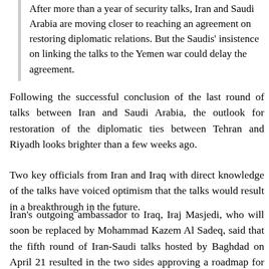After more than a year of security talks, Iran and Saudi Arabia are moving closer to reaching an agreement on restoring diplomatic relations. But the Saudis' insistence on linking the talks to the Yemen war could delay the agreement.
Following the successful conclusion of the last round of talks between Iran and Saudi Arabia, the outlook for restoration of the diplomatic ties between Tehran and Riyadh looks brighter than a few weeks ago.
Two key officials from Iran and Iraq with direct knowledge of the talks have voiced optimism that the talks would result in a breakthrough in the future.
Iran's outgoing ambassador to Iraq, Iraj Masjedi, who will soon be replaced by Mohammad Kazem Al Sadeq, said that the fifth round of Iran-Saudi talks hosted by Baghdad on April 21 resulted in the two sides approving a roadmap for their future interactions.
“In the last round of negotiations, it was important that the two sides have an agreed framework for the future which came